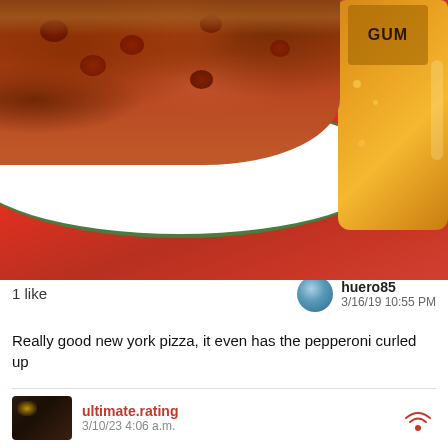[Figure (photo): Photo of a pizza on a white plate with green rim and a beer mug on a red table surface]
1 like
huero85
3/16/19 10:55 PM
Really good new york pizza, it even has the pepperoni curled up
ultimate.rating
3/10/23 4:06 a.m.